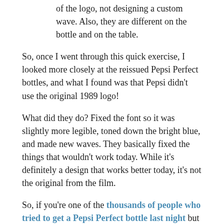of the logo, not designing a custom wave. Also, they are different on the bottle and on the table.
So, once I went through this quick exercise, I looked more closely at the reissued Pepsi Perfect bottles, and what I found was that Pepsi didn't use the original 1989 logo!
What did they do? Fixed the font so it was slightly more legible, toned down the bright blue, and made new waves. They basically fixed the things that wouldn't work today. While it's definitely a design that works better today, it's not the original from the film.
So, if you're one of the thousands of people who tried to get a Pepsi Perfect bottle last night but didn't succeed, be consoled that it wasn't actually an original Pepsi Perfect bottle, anyway. Just a designer's take on what it would look like if it were updated for today.